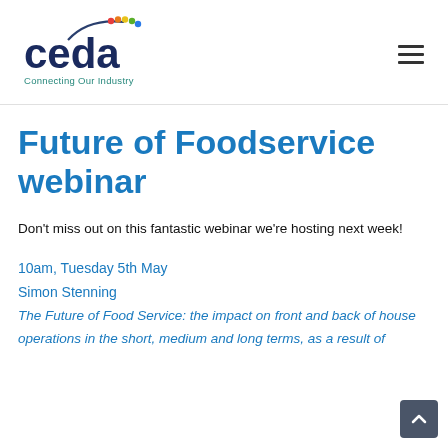[Figure (logo): CEDA logo with text 'ceda' in dark blue bold font, colorful arc and dots above, tagline 'Connecting Our Industry' below in teal/blue]
Future of Foodservice webinar
Don't miss out on this fantastic webinar we're hosting next week!
10am, Tuesday 5th May
Simon Stenning
The Future of Food Service: the impact on front and back of house operations in the short, medium and long terms, as a result of